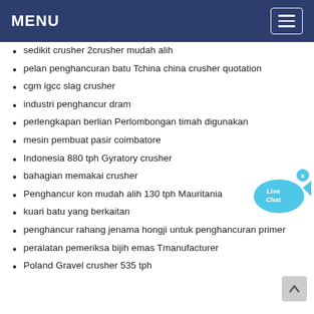MENU
sedikit crusher 2crusher mudah alih
pelan penghancuran batu Tchina china crusher quotation
cgm igcc slag crusher
industri penghancur dram
perlengkapan berlian Perlombongan timah digunakan
mesin pembuat pasir coimbatore
Indonesia 880 tph Gyratory crusher
bahagian memakai crusher
Penghancur kon mudah alih 130 tph Mauritania
kuari batu yang berkaitan
penghancur rahang jenama hongji untuk penghancuran primer
peralatan pemeriksa bijih emas Tmanufacturer
Poland Gravel crusher 535 tph